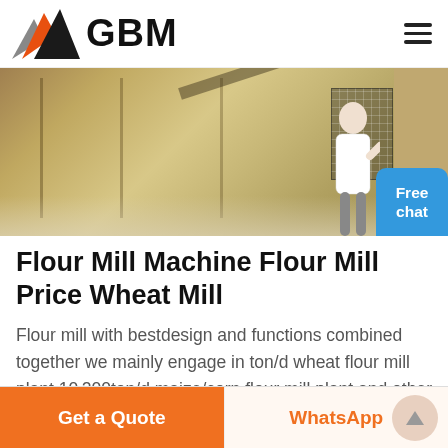GBM
[Figure (photo): Interior of a flour mill facility showing milling equipment and machinery. A customer service representative figure is shown on the right with a 'Free chat' button overlay.]
Flour Mill Machine Flour Mill Price Wheat Mill
Flour mill with bestdesign and functions combined together we mainly engage in ton/d wheat flour mill plant 10 200ton/d maize/corn flour mill plant and other grain processing machines we also supply all the flour mill machines which can
Get a Quote | WhatsApp